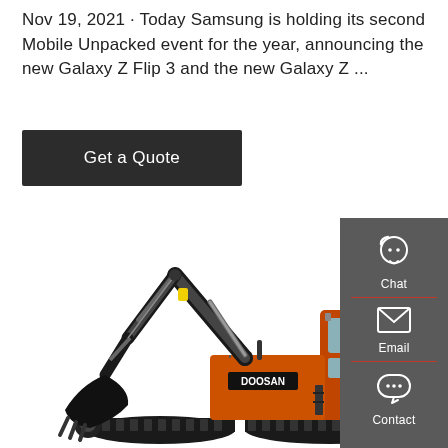Nov 19, 2021 · Today Samsung is holding its second Mobile Unpacked event for the year, announcing the new Galaxy Z Flip 3 and the new Galaxy Z ...
[Figure (other): Dark gray rectangular button labeled 'Get a Quote' in white text]
[Figure (photo): Orange Doosan crawler excavator with extended arm and bucket, shown in profile view against white background]
[Figure (infographic): Dark gray sidebar panel with three icons and labels: Chat (headset icon), Email (envelope icon), Contact (speech bubble icon), separated by red horizontal lines]